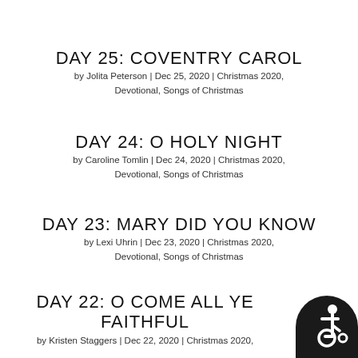DAY 25: COVENTRY CAROL
by Jolita Peterson | Dec 25, 2020 | Christmas 2020, Devotional, Songs of Christmas
DAY 24: O HOLY NIGHT
by Caroline Tomlin | Dec 24, 2020 | Christmas 2020, Devotional, Songs of Christmas
DAY 23: MARY DID YOU KNOW
by Lexi Uhrin | Dec 23, 2020 | Christmas 2020, Devotional, Songs of Christmas
DAY 22: O COME ALL YE FAITHFUL
by Kristen Staggers | Dec 22, 2020 | Christmas 2020,
[Figure (illustration): Accessibility icon (wheelchair symbol) in white on black circular background, bottom right corner]